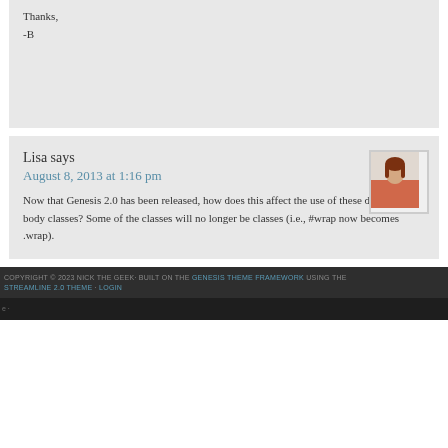Thanks,
-B
Lisa says
August 8, 2013 at 1:16 pm
[Figure (photo): Avatar photo of Lisa, a woman in a red/orange top]
Now that Genesis 2.0 has been released, how does this affect the use of these dynamic body classes? Some of the classes will no longer be classes (i.e., #wrap now becomes .wrap).
COPYRIGHT © 2023 NICK THE GEEK· BUILT ON THE GENESIS THEME FRAMEWORK USING THE STREAMLINE 2.0 THEME · LOGIN